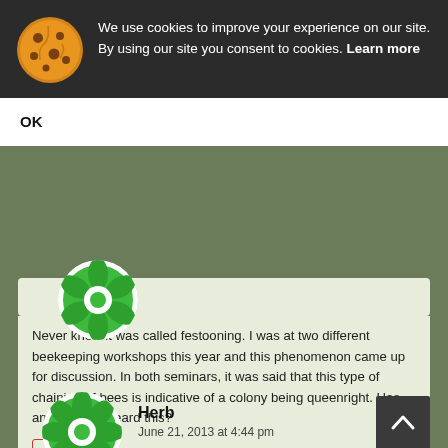We use cookies to improve your experience on our site. By using our site you consent to cookies. Learn more
OK
Never knew it was called festooning. I was at two different beekeeping workshops this year and this phenomenon came up for discussion. In both seminars, it was said that this type of chaining of bees is indicative of a colony being queenright. Has anyone else heard this?
Reply
Herb
June 21, 2013 at 4:44 pm